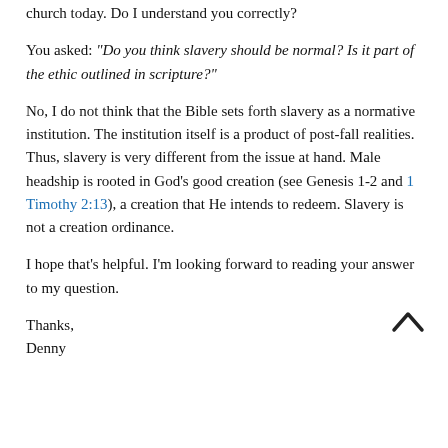church today. Do I understand you correctly?
You asked: “Do you think slavery should be normal? Is it part of the ethic outlined in scripture?”
No, I do not think that the Bible sets forth slavery as a normative institution. The institution itself is a product of post-fall realities. Thus, slavery is very different from the issue at hand. Male headship is rooted in God’s good creation (see Genesis 1-2 and 1 Timothy 2:13), a creation that He intends to redeem. Slavery is not a creation ordinance.
I hope that’s helpful. I’m looking forward to reading your answer to my question.
Thanks,
Denny